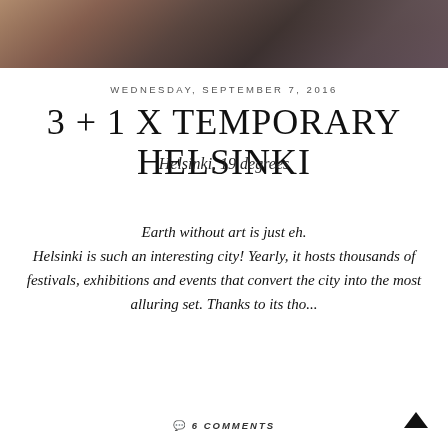[Figure (photo): A blurred crowd scene photograph used as a header banner image, showing people in winter/dark clothing with muted brown and dark tones.]
WEDNESDAY, SEPTEMBER 7, 2016
3 + 1 X TEMPORARY HELSINKI
Helsinki, 19 degrees
Earth without art is just eh.
Helsinki is such an interesting city! Yearly, it hosts thousands of festivals, exhibitions and events that convert the city into the most alluring set. Thanks to its tho...
READ MORE
6 COMMENTS